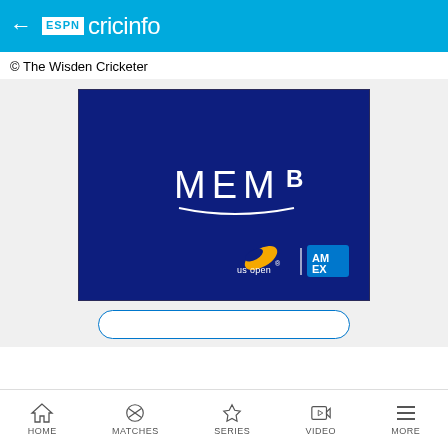← ESPN cricinfo
© The Wisden Cricketer
[Figure (photo): Dark navy blue advertisement image showing 'MEMB' text with US Open and American Express logos in the bottom right corner]
HOME  MATCHES  SERIES  VIDEO  MORE